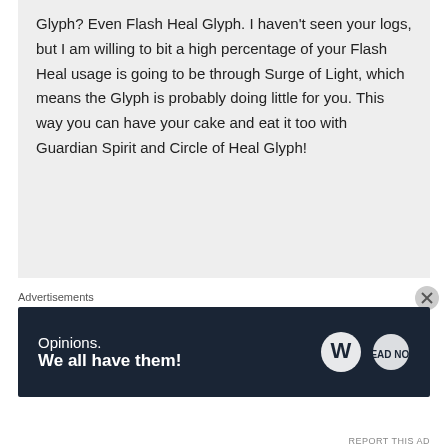Glyph? Even Flash Heal Glyph. I haven't seen your logs, but I am willing to bit a high percentage of your Flash Heal usage is going to be through Surge of Light, which means the Glyph is probably doing little for you. This way you can have your cake and eat it too with Guardian Spirit and Circle of Heal Glyph!
[Figure (other): Advertisement banner with dark navy background showing 'Opinions. We all have them!' text with WordPress and another circular logo on the right]